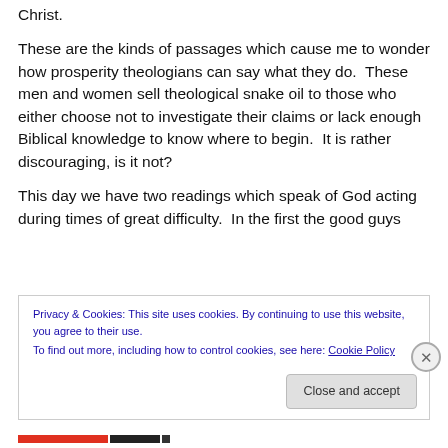Christ.
These are the kinds of passages which cause me to wonder how prosperity theologians can say what they do.  These men and women sell theological snake oil to those who either choose not to investigate their claims or lack enough Biblical knowledge to know where to begin.  It is rather discouraging, is it not?
This day we have two readings which speak of God acting during times of great difficulty.  In the first the good guys
Privacy & Cookies: This site uses cookies. By continuing to use this website, you agree to their use.
To find out more, including how to control cookies, see here: Cookie Policy